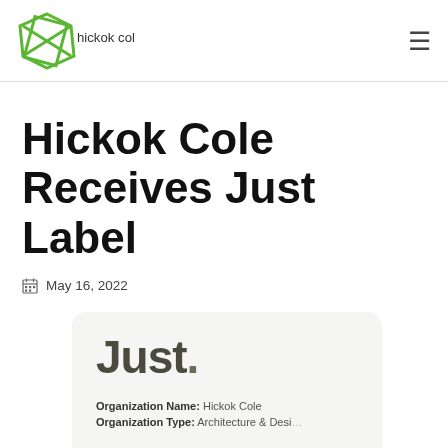hickok cole [logo] [hamburger menu]
Hickok Cole Receives Just Label
May 16, 2022
[Figure (logo): Just. label card showing 'Just.' in large bold text with Organization Name: Hickok Cole and Organization Type: Architecture & Design]